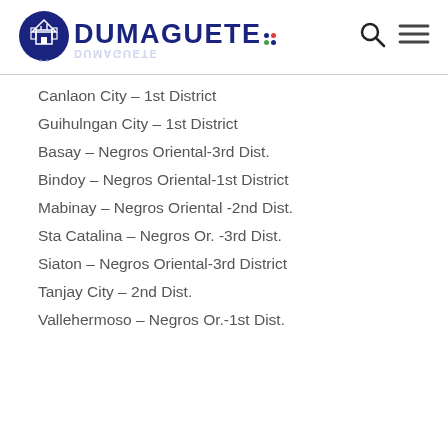DUMAGUETE
Canlaon City – 1st District
Guihulngan City – 1st District
Basay – Negros Oriental-3rd Dist.
Bindoy – Negros Oriental-1st District
Mabinay – Negros Oriental -2nd Dist.
Sta Catalina – Negros Or. -3rd Dist.
Siaton – Negros Oriental-3rd District
Tanjay City – 2nd Dist.
Vallehermoso – Negros Or.-1st Dist.